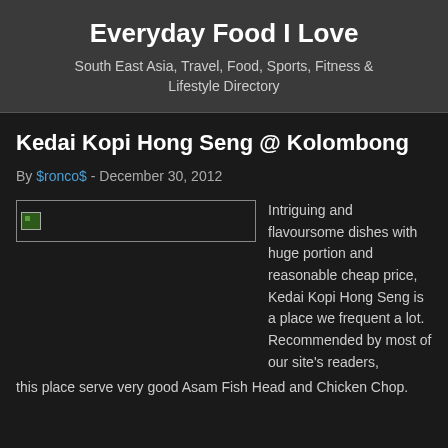Everyday Food I Love
South East Asia, Travel, Food, Sports, Fitness & Lifestyle Directory
Kedai Kopi Hong Seng @ Kolombong
By $ronco$ - December 30, 2012
[Figure (photo): Broken/unloaded image placeholder with small icon in top-left corner]
Intriguing and flavoursome dishes with huge portion and reasonable cheap price, Kedai Kopi Hong Seng is a place we frequent a lot. Recommended by most of our site's readers, this place serve very good Asam Fish Head and Chicken Chop.